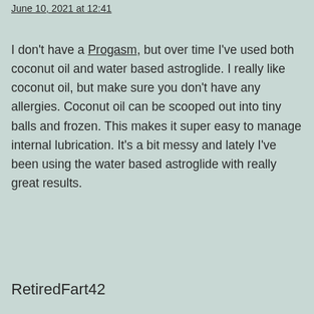June 10, 2021 at 12:41
I don't have a Progasm, but over time I've used both coconut oil and water based astroglide. I really like coconut oil, but make sure you don't have any allergies. Coconut oil can be scooped out into tiny balls and frozen. This makes it super easy to manage internal lubrication. It's a bit messy and lately I've been using the water based astroglide with really great results.
RetiredFart42